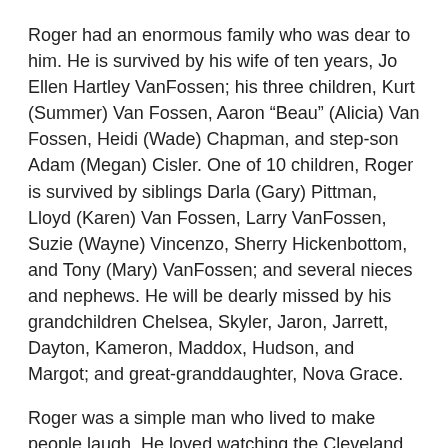Roger had an enormous family who was dear to him. He is survived by his wife of ten years, Jo Ellen Hartley VanFossen; his three children, Kurt (Summer) Van Fossen, Aaron “Beau” (Alicia) Van Fossen, Heidi (Wade) Chapman, and step-son Adam (Megan) Cisler. One of 10 children, Roger is survived by siblings Darla (Gary) Pittman, Lloyd (Karen) Van Fossen, Larry VanFossen, Suzie (Wayne) Vincenzo, Sherry Hickenbottom, and Tony (Mary) VanFossen; and several nieces and nephews. He will be dearly missed by his grandchildren Chelsea, Skyler, Jaron, Jarrett, Dayton, Kameron, Maddox, Hudson, and Margot; and great-granddaughter, Nova Grace.
Roger was a simple man who lived to make people laugh. He loved watching the Cleveland Browns and the Ohio State Buckeyes, and he loved hunting, fishing, working on his four wheeler with his grandsons, and just being with family. He had formerly attended the Dexter City United Methodist Church and currently attended the Woodsfield and Jerusalem Churches of Christ.
Roger will be remembered for being kind, hardworking, and gentle; but mostly he was a total goofball. He will vibrantly live on